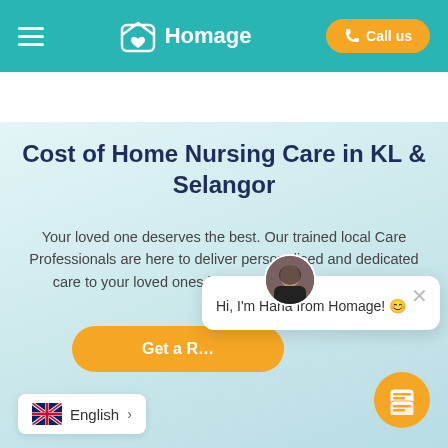Homage — Call us
Cost of Home Nursing Care in KL & Selangor
Your loved one deserves the best. Our trained local Care Professionals are here to deliver personalised and dedicated care to your loved ones in the comfort of their homes.
[Figure (screenshot): Chat popup with avatar photo of Hana from Homage with text: Hi, I'm Hana from Homage! 🙂]
Get a R...
English >